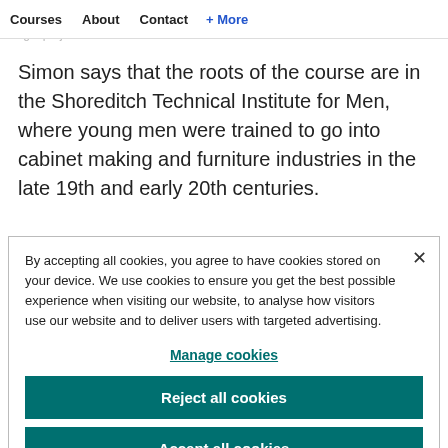Courses | About | Contact | + More
to... she lear... she like combination... materials in a single project”
Simon says that the roots of the course are in the Shoreditch Technical Institute for Men, where young men were trained to go into cabinet making and furniture industries in the late 19th and early 20th centuries.
By accepting all cookies, you agree to have cookies stored on your device. We use cookies to ensure you get the best possible experience when visiting our website, to analyse how visitors use our website and to deliver users with targeted advertising.
Manage cookies
Reject all cookies
Accept all cookies